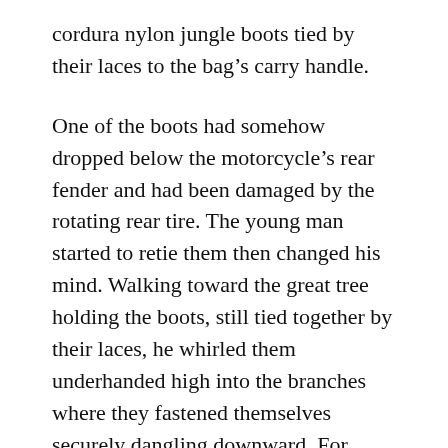cordura nylon jungle boots tied by their laces to the bag's carry handle.
One of the boots had somehow dropped below the motorcycle's rear fender and had been damaged by the rotating rear tire. The young man started to retie them then changed his mind. Walking toward the great tree holding the boots, still tied together by their laces, he whirled them underhanded high into the branches where they fastened themselves securely dangling downward. For twenty-one years the boots rode out the changing seasons. They had been designed for Viet Nam's jungles, but were equally durable hanging from a tree in Northern Nevada's high desert. The nylon laces